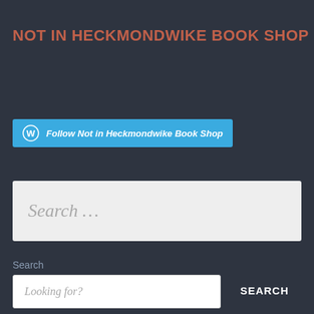NOT IN HECKMONDWIKE BOOK SHOP
[Figure (other): WordPress follow button: blue button with WordPress logo icon and text 'Follow Not in Heckmondwike Book Shop']
Search …
Search
Looking for?
SEARCH